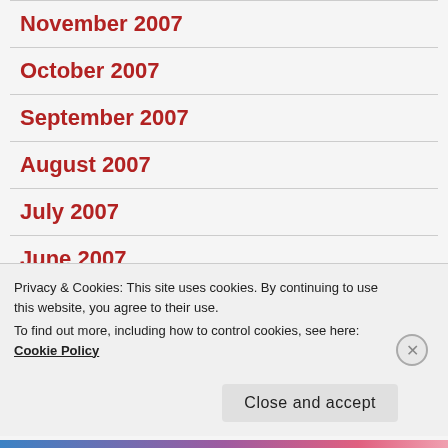November 2007
October 2007
September 2007
August 2007
July 2007
June 2007
Privacy & Cookies: This site uses cookies. By continuing to use this website, you agree to their use.
To find out more, including how to control cookies, see here: Cookie Policy
Close and accept